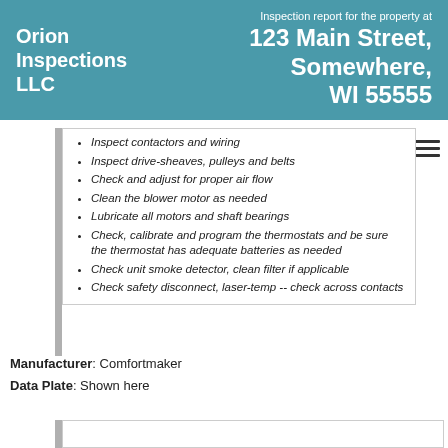Orion Inspections LLC
Inspection report for the property at 123 Main Street, Somewhere, WI 55555
Inspect contactors and wiring
Inspect drive-sheaves, pulleys and belts
Check and adjust for proper air flow
Clean the blower motor as needed
Lubricate all motors and shaft bearings
Check, calibrate and program the thermostats and be sure the thermostat has adequate batteries as needed
Check unit smoke detector, clean filter if applicable
Check safety disconnect, laser-temp -- check across contacts
Manufacturer: Comfortmaker
Data Plate: Shown here